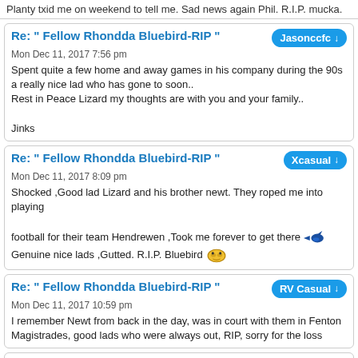Planty txid me on weekend to tell me. Sad news again Phil. R.I.P. mucka.
Re: " Fellow Rhondda Bluebird-RIP "
Mon Dec 11, 2017 7:56 pm
Spent quite a few home and away games in his company during the 90s a really nice lad who has gone to soon..
Rest in Peace Lizard my thoughts are with you and your family..

Jinks
Re: " Fellow Rhondda Bluebird-RIP "
Mon Dec 11, 2017 8:09 pm
Shocked ,Good lad Lizard and his brother newt. They roped me into playing football for their team Hendrewen ,Took me forever to get there [bluebird] Genuine nice lads ,Gutted. R.I.P. Bluebird [alien]
Re: " Fellow Rhondda Bluebird-RIP "
Mon Dec 11, 2017 10:59 pm
I remember Newt from back in the day, was in court with them in Fenton Magistrades, good lads who were always out, RIP, sorry for the loss
Re: " Fellow Rhondda Bluebird-RIP "
Wed May 29, 2019 4:32 pm
RIP fella. Good lads
Post a reply